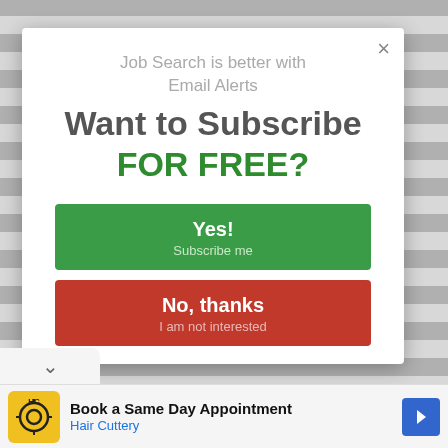Job Search is better with Email Alerts
Want to Subscribe FOR FREE?
Yes! Subscribe me
No, thanks I am not interested
[Figure (screenshot): Advertisement banner: Hair Cuttery - Book a Same Day Appointment]